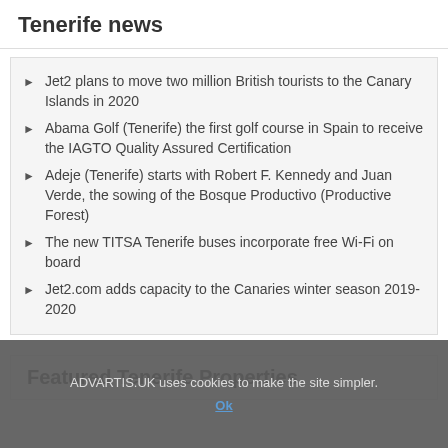Tenerife news
Jet2 plans to move two million British tourists to the Canary Islands in 2020
Abama Golf (Tenerife) the first golf course in Spain to receive the IAGTO Quality Assured Certification
Adeje (Tenerife) starts with Robert F. Kennedy and Juan Verde, the sowing of the Bosque Productivo (Productive Forest)
The new TITSA Tenerife buses incorporate free Wi-Fi on board
Jet2.com adds capacity to the Canaries winter season 2019-2020
Featured Tenerife Properties
ADVARTIS.UK uses cookies to make the site simpler.
Ok